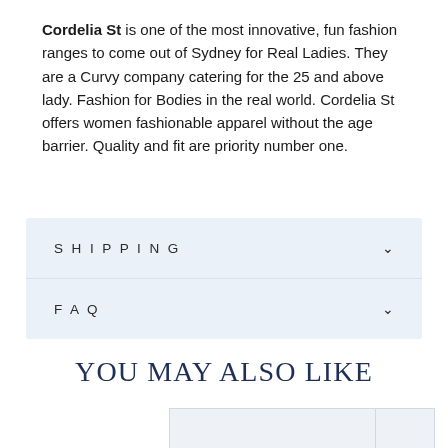Cordelia St is one of the most innovative, fun fashion ranges to come out of Sydney for Real Ladies. They are a Curvy company catering for the 25 and above lady. Fashion for Bodies in the real world. Cordelia St offers women fashionable apparel without the age barrier. Quality and fit are priority number one.
SHIPPING
FAQ
YOU MAY ALSO LIKE
[Figure (other): Product thumbnail images partially visible at bottom of page]